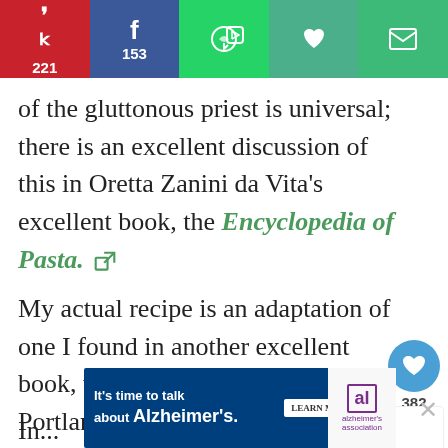[Figure (screenshot): Social share bar with Pinterest (221), Facebook (153), WhatsApp, heart/like, and email buttons]
of the gluttonous priest is universal; there is an excellent discussion of this in Oretta Zanini da Vita’s excellent book, the Encyclopedia of Pasta. [external link icon]
My actual recipe is an adaptation of one I found in another excellent book, written by Chef Jenn Louis of Portland, called Pasta by Hand: A Collection of Italy’s Regional Hand-Shaped Pasta [external link icon]. She uses spinach, but any leafy green that isn’t to tough will work.
[Figure (screenshot): Ad banner: It's time to talk about Alzheimer's. LEARN MORE. Alzheimer's Association logo.]
In...spinach...